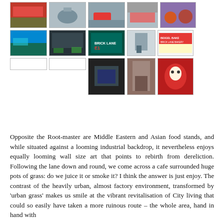[Figure (photo): Grid of 13 photographs showing scenes from Brick Lane, London: red double-decker bus area, cannon sculpture, red sports car, market food stall, food dishes, outdoor market with umbrellas, cafe with plants, Brick Lane E1 sign, building/tower, Beigel Bake bakery sign, two blank placeholders, dark interior shot, red brick building doorway, street art mural with face]
Opposite the Root-master are Middle Eastern and Asian food stands, and while situated against a looming industrial backdrop, it nevertheless enjoys equally looming wall size art that points to rebirth from dereliction. Following the lane down and round, we come across a cafe surrounded huge pots of grass: do we juice it or smoke it? I think the answer is just enjoy. The contrast of the heavily urban, almost factory environment, transformed by ‘urban grass’ makes us smile at the vibrant revitalisation of City living that could so easily have taken a more ruinous route – the whole area, hand in hand with